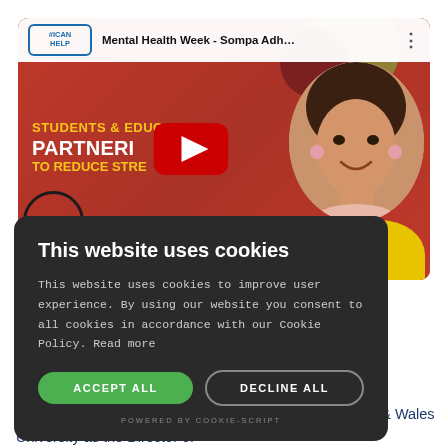[Figure (screenshot): YouTube video thumbnail for 'Mental Health Week - Sompa Adh...' showing a woman and text 'Students & Educators Partnering to Reduce Stress' with #ICanHelp logo and red YouTube play button overlay]
This website uses cookies
This website uses cookies to improve user experience. By using our website you consent to all cookies in accordance with our Cookie Policy. Read more
ACCEPT ALL   DECLINE ALL
POWERED BY COOKIE-SCRIPT
ylor, a d and ts and adults, as an anager and at Johnson & Wales University as the Director of